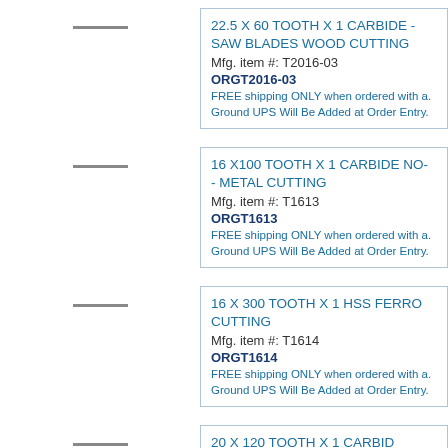22.5 X 60 TOOTH X 1 CARBIDE - SAW BLADES WOOD CUTTING
Mfg. item #: T2016-03
ORGT2016-03
FREE shipping ONLY when ordered with a. Ground UPS Will Be Added at Order Entry.
16 X100 TOOTH X 1 CARBIDE NO- - METAL CUTTING
Mfg. item #: T1613
ORGT1613
FREE shipping ONLY when ordered with a. Ground UPS Will Be Added at Order Entry.
16 X 300 TOOTH X 1 HSS FERRO CUTTING
Mfg. item #: T1614
ORGT1614
FREE shipping ONLY when ordered with a. Ground UPS Will Be Added at Order Entry.
20 X 120 TOOTH X 1 CARBIDE BLADES - METAL CUTTING
Mfg. item #: T2013
ORGT2013
FREE shipping ONLY when ordered with a.